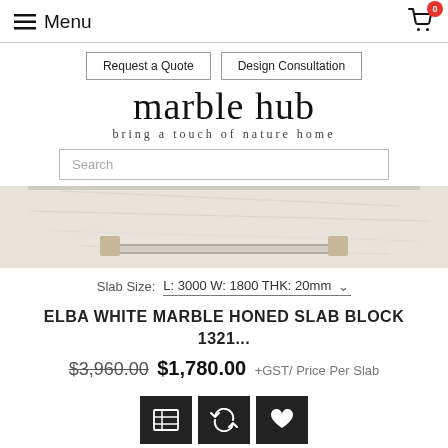≡ Menu
Request a Quote | Design Consultation
marble hub
bring a touch of nature home
Search
[Figure (photo): Close-up photo of an Elba White Marble Honed Slab showing white marble with veining and a metal bar/handle at the bottom]
Slab Size: L: 3000 W: 1800 THK: 20mm
ELBA WHITE MARBLE HONED SLAB BLOCK 1321...
$3,960.00 $1,780.00 +GST/ Price Per Slab